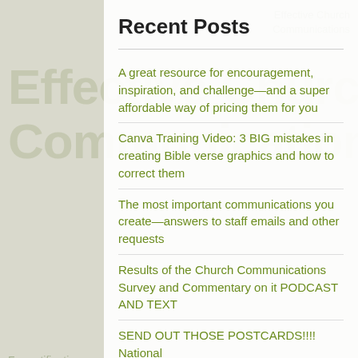Effective Church Communications
Recent Posts
A great resource for encouragement, inspiration, and challenge—and a super affordable way of pricing them for you
Canva Training Video: 3 BIG mistakes in creating Bible verse graphics and how to correct them
The most important communications you create—answers to staff emails and other requests
Results of the Church Communications Survey and Commentary on it PODCAST AND TEXT
SEND OUT THOSE POSTCARDS!!!! National